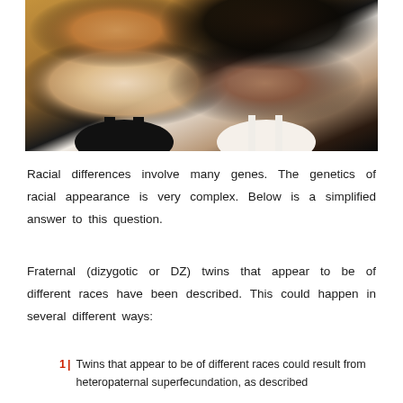[Figure (photo): Two young women posing together — one with straight blonde/red hair wearing a black top, and one with curly dark hair wearing a white top, photographed against a warm-toned background.]
Racial differences involve many genes. The genetics of racial appearance is very complex. Below is a simplified answer to this question.
Fraternal (dizygotic or DZ) twins that appear to be of different races have been described. This could happen in several different ways:
1 | Twins that appear to be of different races could result from heteropaternal superfecundation, as described